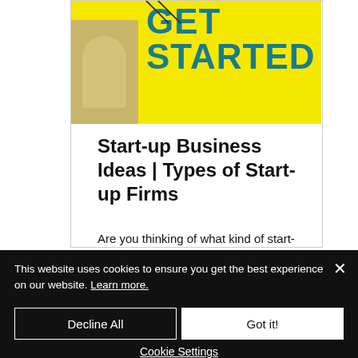[Figure (illustration): Yellow background banner with bold teal text reading 'GET STARTED' and a hand holding a paper, partially visible on a card layout]
Start-up Business Ideas | Types of Start-up Firms
Are you thinking of what kind of start-up business you should start? This article may help.
This website uses cookies to ensure you get the best experience on our website. Learn more.
Decline All
Got it!
Cookie Settings